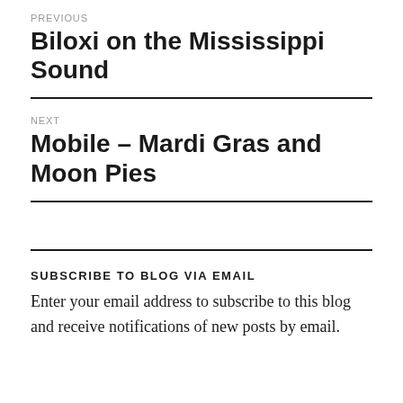PREVIOUS
Biloxi on the Mississippi Sound
NEXT
Mobile – Mardi Gras and Moon Pies
SUBSCRIBE TO BLOG VIA EMAIL
Enter your email address to subscribe to this blog and receive notifications of new posts by email.